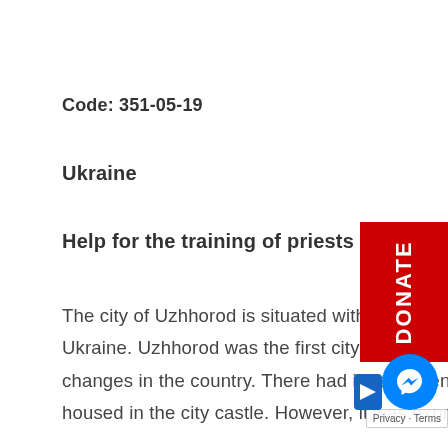Code: 351-05-19
Ukraine
Help for the training of priests
The city of Uzhhorod is situated within the Greek Catholic eparchy (diocese) of Mukachiv in the West of Ukraine. Uzhhorod was the first city in Ukraine in which a new seminary was built, following the political changes in the country. There had in fact been a seminary here since before the Soviet era. It had housed in the city castle. However, it was expropriated by the communists and the rooms were eventually